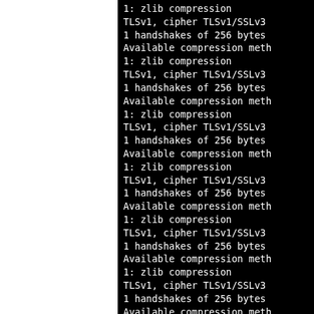[Figure (screenshot): Terminal/console output on black background showing repeating pattern of TLS/SSL handshake log lines: '1: zlib compression', 'TLSv1, cipher TLSv1/SSLv3', '1 handshakes of 256 bytes', 'Available compression meth' (truncated), repeated multiple times. Left portion of the page is white.]